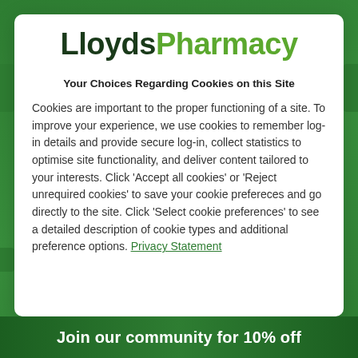[Figure (logo): LloydsPharmacy logo — 'Lloyds' in dark green bold, 'Pharmacy' in light green bold]
Your Choices Regarding Cookies on this Site
Cookies are important to the proper functioning of a site. To improve your experience, we use cookies to remember log-in details and provide secure log-in, collect statistics to optimise site functionality, and deliver content tailored to your interests. Click 'Accept all cookies' or 'Reject unrequired cookies' to save your cookie prefereces and go directly to the site. Click 'Select cookie preferences' to see a detailed description of cookie types and additional preference options. Privacy Statement
Join our community for 10% off